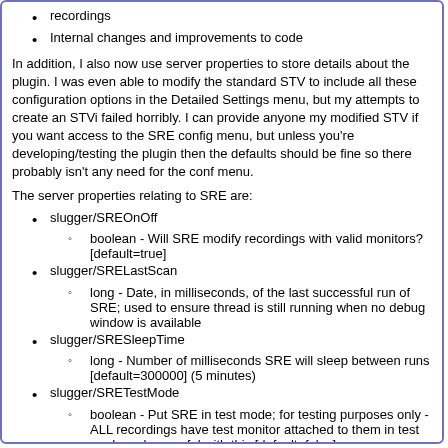recordings
Internal changes and improvements to code
In addition, I also now use server properties to store details about the plugin. I was even able to modify the standard STV to include all these configuration options in the Detailed Settings menu, but my attempts to create an STVi failed horribly. I can provide anyone my modified STV if you want access to the SRE config menu, but unless you're developing/testing the plugin then the defaults should be fine so there probably isn't any need for the conf menu.
The server properties relating to SRE are:
slugger/SREOnOff
boolean - Will SRE modify recordings with valid monitors? [default=true]
slugger/SRELastScan
long - Date, in milliseconds, of the last successful run of SRE; used to ensure thread is still running when no debug window is available
slugger/SRESleepTime
long - Number of milliseconds SRE will sleep between runs [default=300000] (5 minutes)
slugger/SRETestMode
boolean - Put SRE in test mode; for testing purposes only - ALL recordings have test monitor attached to them in test mode so be careful with this [default=false]